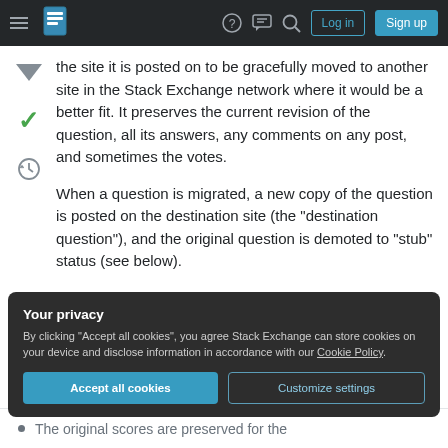Stack Exchange navigation bar with hamburger menu, logo, help, chat, search icons, Log in and Sign up buttons
the site it is posted on to be gracefully moved to another site in the Stack Exchange network where it would be a better fit. It preserves the current revision of the question, all its answers, any comments on any post, and sometimes the votes.
When a question is migrated, a new copy of the question is posted on the destination site (the "destination question"), and the original question is demoted to "stub" status (see below).
Your privacy
By clicking "Accept all cookies", you agree Stack Exchange can store cookies on your device and disclose information in accordance with our Cookie Policy.
Accept all cookies   Customize settings
The original scores are preserved for the